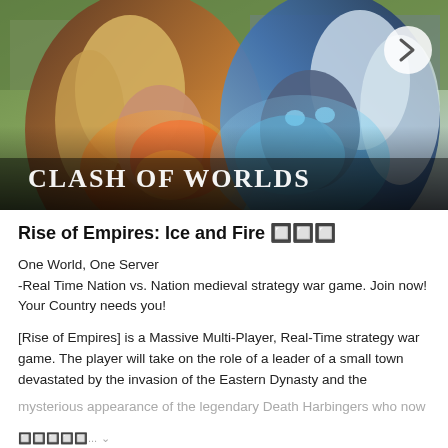[Figure (illustration): Game banner image for Rise of Empires: Ice and Fire showing a clash between a human warrior with fire elements on the left and an ice/undead creature on the right, with armies in the background. Text overlay reads 'CLASH OF WORLDS' with navigation dots and a right arrow button.]
Rise of Empires: Ice and Fire 🔳🔳🔳
One World, One Server
-Real Time Nation vs. Nation medieval strategy war game. Join now! Your Country needs you!
[Rise of Empires] is a Massive Multi-Player, Real-Time strategy war game. The player will take on the role of a leader of a small town devastated by the invasion of the Eastern Dynasty and the mysterious appearance of the legendary Death Harbingers who now
🔳🔳🔳🔳🔳... ∨